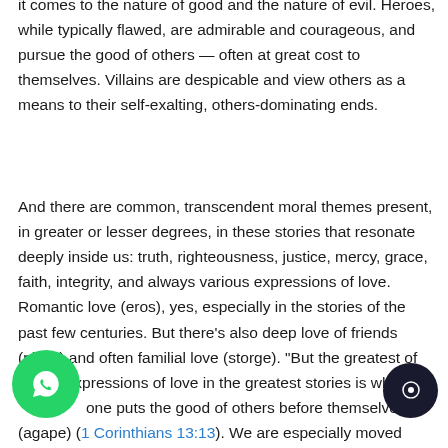it comes to the nature of good and the nature of evil. Heroes, while typically flawed, are admirable and courageous, and pursue the good of others — often at great cost to themselves. Villains are despicable and view others as a means to their self-exalting, others-dominating ends.
And there are common, transcendent moral themes present, in greater or lesser degrees, in these stories that resonate deeply inside us: truth, righteousness, justice, mercy, grace, faith, integrity, and always various expressions of love. Romantic love (eros), yes, especially in the stories of the past few centuries. But there's also deep love of friends (philio) and often familial love (storge). "But the greatest of these" expressions of love in the greatest stories is when one puts the good of others before themselves (agape) (1 Corinthians 13:13). We are especially moved and inspired by sacrificial love, when "someone [lays] down his